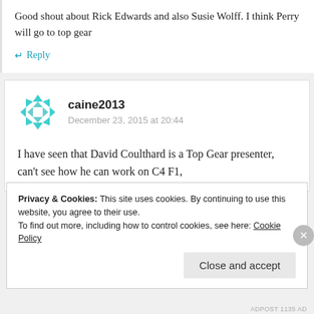Good shout about Rick Edwards and also Susie Wolff. I think Perry will go to top gear
↵ Reply
caine2013
December 23, 2015 at 20:44
I have seen that David Coulthard is a Top Gear presenter, can't see how he can work on C4 F1,
Privacy & Cookies: This site uses cookies. By continuing to use this website, you agree to their use. To find out more, including how to control cookies, see here: Cookie Policy
Close and accept